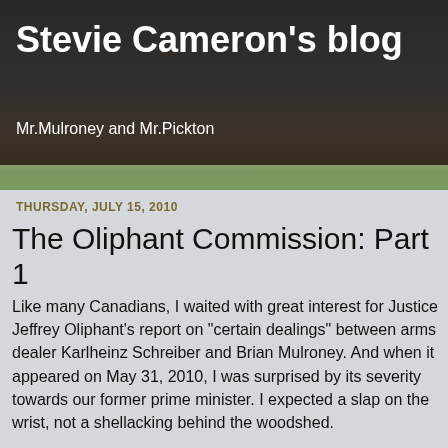[Figure (photo): Blog header background showing a blurred road and sky scene with dark brown/chocolate colored overlay banner]
Stevie Cameron's blog
Mr.Mulroney and Mr.Pickton
THURSDAY, JULY 15, 2010
The Oliphant Commission: Part 1
Like many Canadians, I waited with great interest for Justice Jeffrey Oliphant's report on "certain dealings" between arms dealer Karlheinz Schreiber and Brian Mulroney. And when it appeared on May 31, 2010, I was surprised by its severity towards our former prime minister. I expected a slap on the wrist, not a shellacking behind the woodshed.
My interest in Judge Oliphant's findings of the "inappropriate" relationship between Mulroney and Schreiber were very personal because I, too, had been subpoenaed by the Oliphant Commission more than a year earlier.